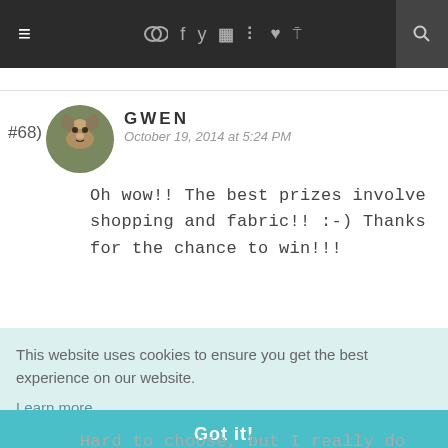≡ [social icons] f t [instagram] [pinterest] [heart] [rss] [search]
#68) GWEN
October 19, 2014 at 5:24 PM
Oh wow!! The best prizes involve shopping and fabric!! :-) Thanks for the chance to win!!!
This website uses cookies to ensure you get the best experience on our website.
Learn more
Got it!
Hard to choose, but I really do